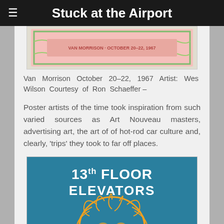Stuck at the Airport
[Figure (photo): Top portion of a psychedelic concert poster with decorative border elements, pink/green colors]
Van Morrison October 20–22, 1967 Artist: Wes Wilson Courtesy of Ron Schaeffer –
Poster artists of the time took inspiration from such varied sources as Art Nouveau masters, advertising art, the art of of hot-rod car culture and, clearly, 'trips' they took to far off places.
[Figure (photo): 13th Floor Elevators concert poster with teal/blue background and orange psychedelic face illustration with text '13TH FLOOR ELEVATORS' at top]